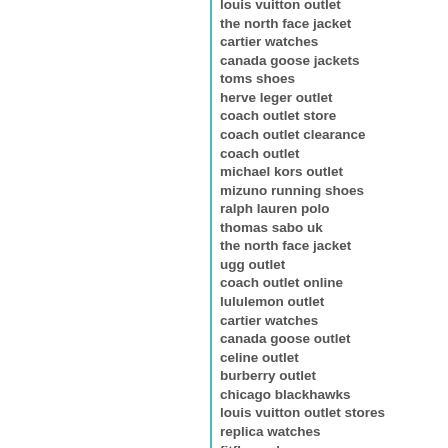louis vuitton outlet
the north face jacket
cartier watches
canada goose jackets
toms shoes
herve leger outlet
coach outlet store
coach outlet clearance
coach outlet
michael kors outlet
mizuno running shoes
ralph lauren polo
thomas sabo uk
the north face jacket
ugg outlet
coach outlet online
lululemon outlet
cartier watches
canada goose outlet
celine outlet
burberry outlet
chicago blackhawks
louis vuitton outlet stores
replica watches
fitflops shoes
moncler jackets
louis vuitton outlet
nike huarache
tiffany and co
prada sunglasses